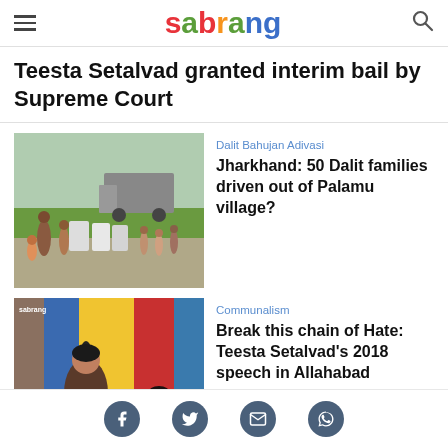sabrang
Teesta Setalvad granted interim bail by Supreme Court
Dalit Bahujan Adivasi
[Figure (photo): Photo of Dalit families with large containers on a rural road, with a truck and green fields in background]
Jharkhand: 50 Dalit families driven out of Palamu village?
Communalism
[Figure (photo): Photo of a woman speaking at a podium in front of colorful blue, yellow, and red banners, with another person seated beside her]
Break this chain of Hate: Teesta Setalvad's 2018 speech in Allahabad
Social share icons: Facebook, Twitter, Email, WhatsApp